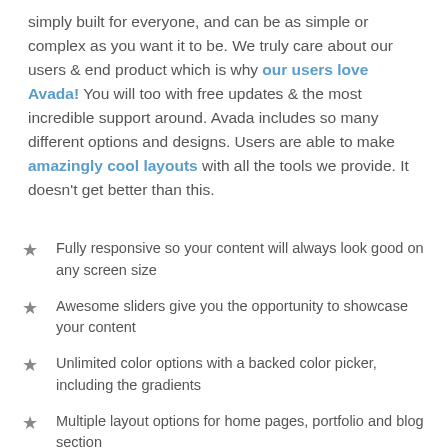simply built for everyone, and can be as simple or complex as you want it to be. We truly care about our users & end product which is why our users love Avada! You will too with free updates & the most incredible support around. Avada includes so many different options and designs. Users are able to make amazingly cool layouts with all the tools we provide. It doesn't get better than this.
Fully responsive so your content will always look good on any screen size
Awesome sliders give you the opportunity to showcase your content
Unlimited color options with a backed color picker, including the gradients
Multiple layout options for home pages, portfolio and blog section
We offer free support because we care about your site as much as you.